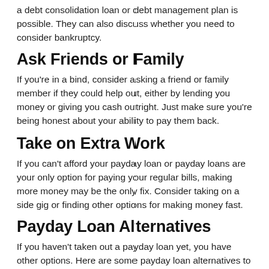a debt consolidation loan or debt management plan is possible. They can also discuss whether you need to consider bankruptcy.
Ask Friends or Family
If you're in a bind, consider asking a friend or family member if they could help out, either by lending you money or giving you cash outright. Just make sure you're being honest about your ability to pay them back.
Take on Extra Work
If you can't afford your payday loan or payday loans are your only option for paying your regular bills, making more money may be the only fix. Consider taking on a side gig or finding other options for making money fast.
Payday Loan Alternatives
If you haven't taken out a payday loan yet, you have other options. Here are some payday loan alternatives to consider first: